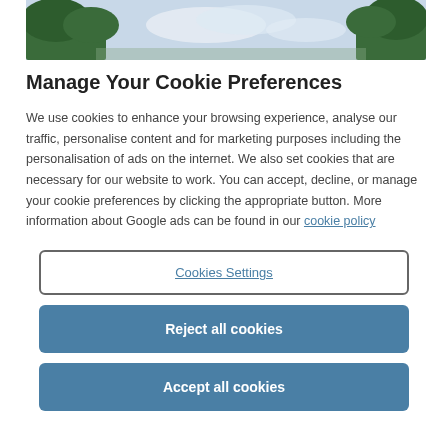[Figure (photo): Banner photo showing trees and sky, landscape scene]
Manage Your Cookie Preferences
We use cookies to enhance your browsing experience, analyse our traffic, personalise content and for marketing purposes including the personalisation of ads on the internet. We also set cookies that are necessary for our website to work. You can accept, decline, or manage your cookie preferences by clicking the appropriate button. More information about Google ads can be found in our cookie policy
Cookies Settings
Reject all cookies
Accept all cookies